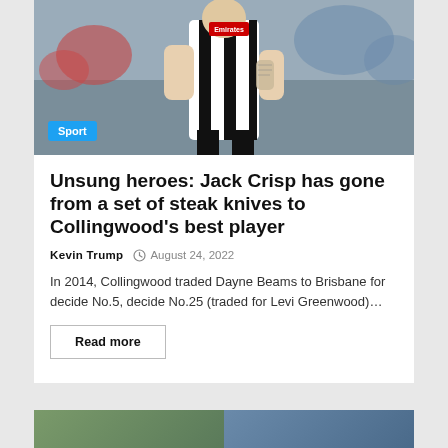[Figure (photo): AFL footballer in black and white Collingwood stripes running, with a Sport category badge overlay in the bottom left]
Unsung heroes: Jack Crisp has gone from a set of steak knives to Collingwood’s best player
Kevin Trump   August 24, 2022
In 2014, Collingwood traded Dayne Beams to Brisbane for decide No.5, decide No.25 (traded for Levi Greenwood)…
Read more
[Figure (photo): Partial bottom strip showing two cropped images side by side]